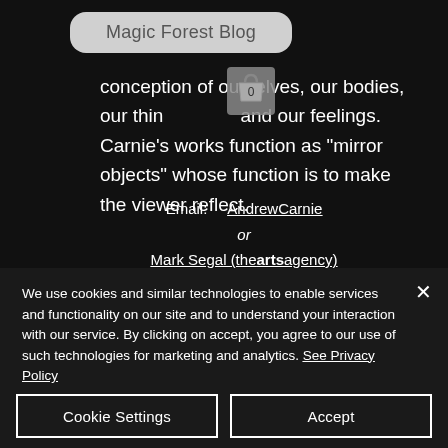Magic Forest Blog
conception of ourselves, our bodies, our thinking and our feelings. Carnie's works function as "mirror objects" whose function is to make the viewer reflect.
Email: AndrewCarnie or Mark Segal (theartsagency)
We use cookies and similar technologies to enable services and functionality on our site and to understand your interaction with our service. By clicking on accept, you agree to our use of such technologies for marketing and analytics. See Privacy Policy
Cookie Settings
Accept